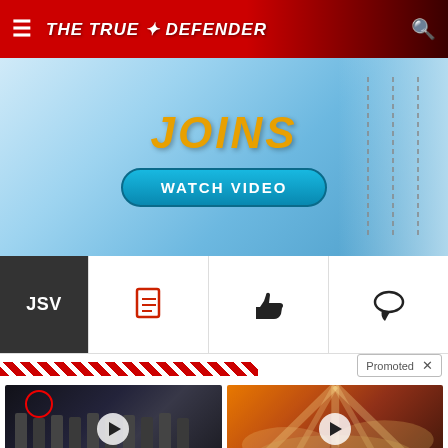THE TRUE DEFENDER
[Figure (screenshot): Advertisement banner with 'WATCH VIDEO' button on blue gradient background]
JSV
[Figure (infographic): Toolbar with document icon, thumbs up icon, and speech bubble icon]
Promoted ×
[Figure (photo): Group of men in suits standing together, one circled in red, with CIA logo on floor. Play button overlay.]
Biden Probably Wants This Video Destroyed — US Dollar On Path Towards Replacement?
622,767
[Figure (photo): Clouds with light rays, spiritual imagery. Play button overlay.]
Everyone Who Believes In God Should Watch This. It Will Blow Your Mind
44,937